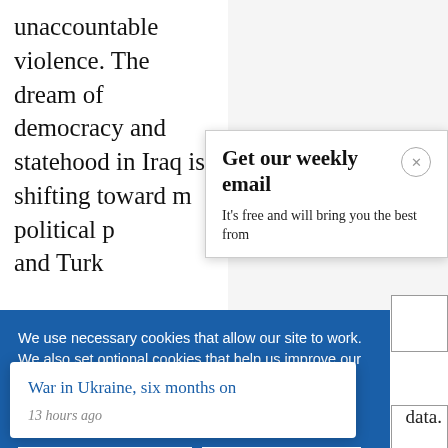unaccountable violence. The dream of democracy and statehood in Iraq is shifting toward m political p and Turk
[Figure (screenshot): Email signup modal overlay with title 'Get our weekly email' and subtitle 'It’s free and will bring you the best from']
We use necessary cookies that allow our site to work. We also set optional cookies that help us improve our website. For more information about the types of cookies we use. READ OUR COOKIES POLICY HERE
COOKIE
ALLOW
War in Ukraine, six months on
13 hours ago
data.